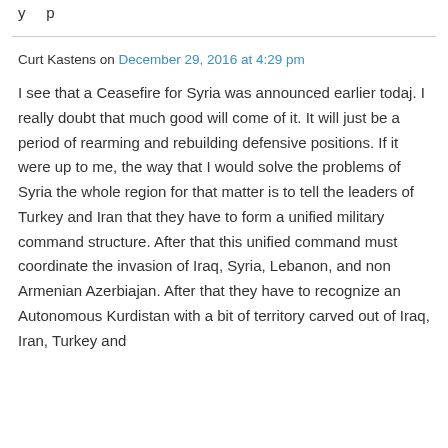y ... p
Curt Kastens on December 29, 2016 at 4:29 pm
I see that a Ceasefire for Syria was announced earlier todaj. I really doubt that much good will come of it. It will just be a period of rearming and rebuilding defensive positions. If it were up to me, the way that I would solve the problems of Syria the whole region for that matter is to tell the leaders of Turkey and Iran that they have to form a unified military command structure. After that this unified command must coordinate the invasion of Iraq, Syria, Lebanon, and non Armenian Azerbiajan. After that they have to recognize an Autonomous Kurdistan with a bit of territory carved out of Iraq, Iran, Turkey and